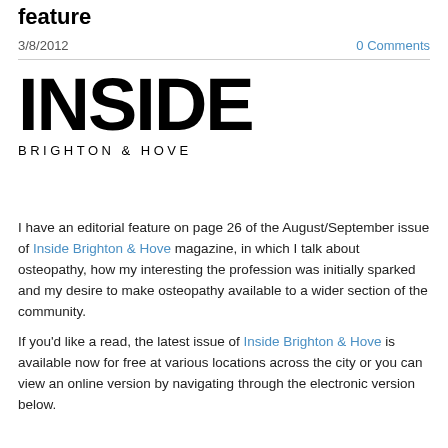feature
3/8/2012   0 Comments
[Figure (logo): Inside Brighton & Hove magazine logo — 'INSIDE' in large bold black text, 'BRIGHTON & HOVE' in smaller spaced caps below]
I have an editorial feature on page 26 of the August/September issue of Inside Brighton & Hove magazine, in which I talk about osteopathy, how my interesting the profession was initially sparked and my desire to make osteopathy available to a wider section of the community.
If you'd like a read, the latest issue of Inside Brighton & Hove is available now for free at various locations across the city or you can view an online version by navigating through the electronic version below.